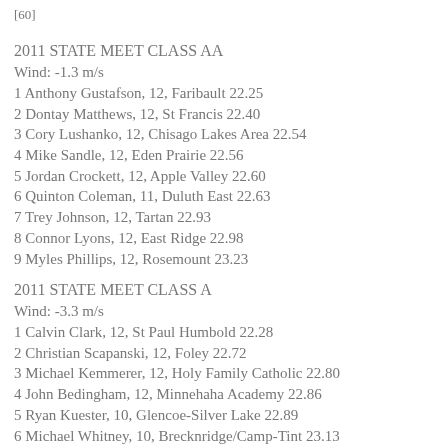[60]
2011 STATE MEET CLASS AA
Wind: -1.3 m/s
1 Anthony Gustafson, 12, Faribault 22.25
2 Dontay Matthews, 12, St Francis 22.40
3 Cory Lushanko, 12, Chisago Lakes Area 22.54
4 Mike Sandle, 12, Eden Prairie 22.56
5 Jordan Crockett, 12, Apple Valley 22.60
6 Quinton Coleman, 11, Duluth East 22.63
7 Trey Johnson, 12, Tartan 22.93
8 Connor Lyons, 12, East Ridge 22.98
9 Myles Phillips, 12, Rosemount 23.23
2011 STATE MEET CLASS A
Wind: -3.3 m/s
1 Calvin Clark, 12, St Paul Humbold 22.28
2 Christian Scapanski, 12, Foley 22.72
3 Michael Kemmerer, 12, Holy Family Catholic 22.80
4 John Bedingham, 12, Minnehaha Academy 22.86
5 Ryan Kuester, 10, Glencoe-Silver Lake 22.89
6 Michael Whitney, 10, Brecknridge/Camp-Tint 23.13
7 …